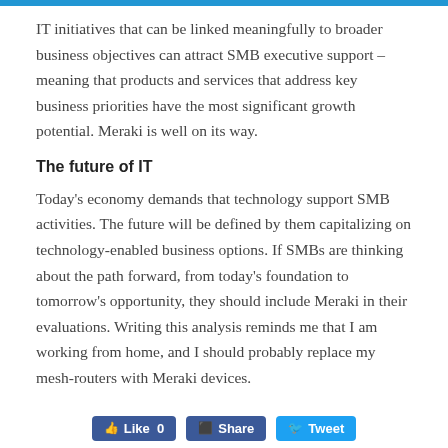IT initiatives that can be linked meaningfully to broader business objectives can attract SMB executive support – meaning that products and services that address key business priorities have the most significant growth potential. Meraki is well on its way.
The future of IT
Today's economy demands that technology support SMB activities. The future will be defined by them capitalizing on technology-enabled business options. If SMBs are thinking about the path forward, from today's foundation to tomorrow's opportunity, they should include Meraki in their evaluations. Writing this analysis reminds me that I am working from home, and I should probably replace my mesh-routers with Meraki devices.
[Figure (other): Social sharing buttons: Like, Share, Tweet]